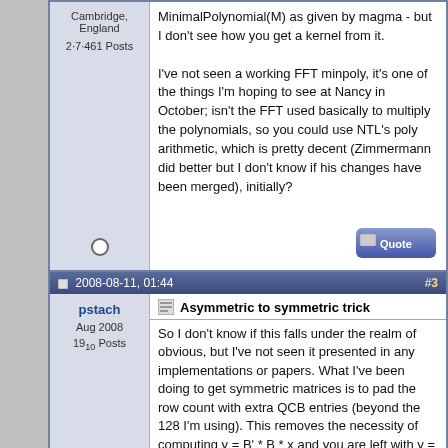Cambridge, England
2·7·461 Posts
MinimalPolynomial(M) as given by magma - but I don't see how you get a kernel from it.

I've not seen a working FFT minpoly, it's one of the things I'm hoping to see at Nancy in October; isn't the FFT used basically to multiply the polynomials, so you could use NTL's poly arithmetic, which is pretty decent (Zimmermann did better but I don't know if his changes have been merged), initially?
2008-08-11, 01:44  #3
pstach
Aug 2008
19₁₀ Posts
Asymmetric to symmetric trick
So I don't know if this falls under the realm of obvious, but I've not seen it presented in any implementations or papers. What I've been doing to get symmetric matrices is to pad the row count with extra QCB entries (beyond the 128 I'm using). This removes the necessity of computing y = B' * B * x and you are left with y = A * x (A = sym, B = asym)
I guess the additional QCB entries only pose a problem if you heavily oversieved